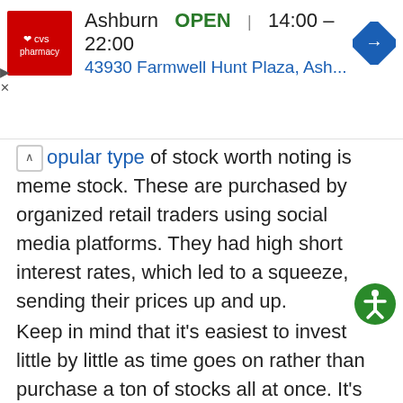[Figure (screenshot): CVS Pharmacy advertisement banner showing Ashburn location, OPEN 14:00–22:00, address 43930 Farmwell Hunt Plaza, Ash..., with navigation arrow icon]
opular type of stock worth noting is meme stock. These are purchased by organized retail traders using social media platforms. They had high short interest rates, which led to a squeeze, sending their prices up and up.
Keep in mind that it's easiest to invest little by little as time goes on rather than purchase a ton of stocks all at once. It's best to build up experience with several different ones before going full force into investing.
5. Maintain a Diverse Portfolio